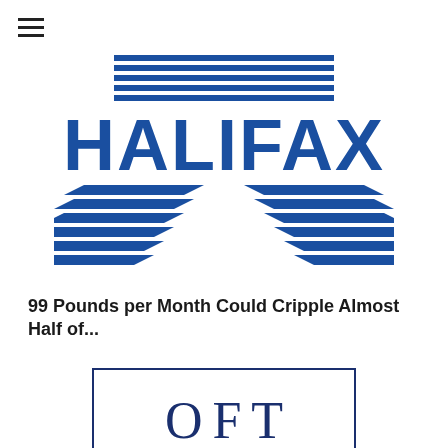[Figure (logo): Halifax bank logo — bold blue HALIFAX wordmark with horizontal stripe chevron graphic beneath]
99 Pounds per Month Could Cripple Almost Half of...
[Figure (logo): OFT (Office of Fair Trading) logo — large serif OFT letters inside a rectangular navy blue border]